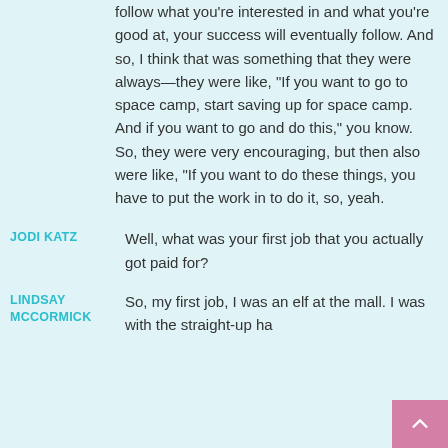follow what you're interested in and what you're good at, your success will eventually follow. And so, I think that was something that they were always—they were like, "If you want to go to space camp, start saving up for space camp. And if you want to go and do this," you know. So, they were very encouraging, but then also were like, "If you want to do these things, you have to put the work in to do it, so, yeah.
JODI KATZ: Well, what was your first job that you actually got paid for?
LINDSAY MCCORMICK: So, my first job, I was an elf at the mall. I was with the straight-up ha